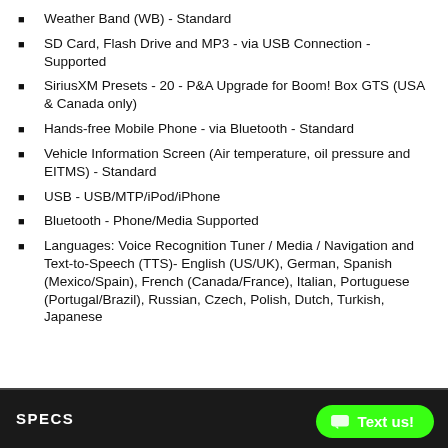Weather Band (WB) - Standard
SD Card, Flash Drive and MP3 - via USB Connection - Supported
SiriusXM Presets - 20 - P&A Upgrade for Boom! Box GTS (USA & Canada only)
Hands-free Mobile Phone - via Bluetooth - Standard
Vehicle Information Screen (Air temperature, oil pressure and EITMS) - Standard
USB - USB/MTP/iPod/iPhone
Bluetooth - Phone/Media Supported
Languages: Voice Recognition Tuner / Media / Navigation and Text-to-Speech (TTS)- English (US/UK), German, Spanish (Mexico/Spain), French (Canada/France), Italian, Portuguese (Portugal/Brazil), Russian, Czech, Polish, Dutch, Turkish, Japanese
SPECS